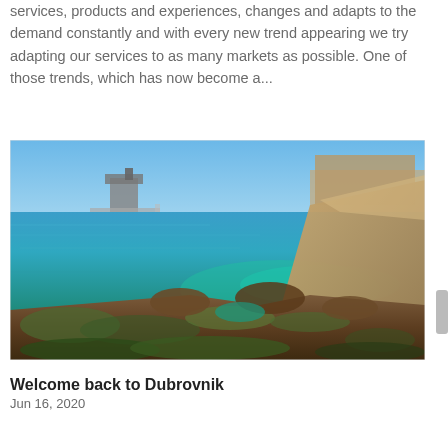services, products and experiences, changes and adapts to the demand constantly and with every new trend appearing we try adapting our services to as many markets as possible. One of those trends, which has now become a...
[Figure (photo): Coastal scene showing clear turquoise and blue water with rocky foreground covered in seaweed and algae, and a historic walled city or fortress visible in the background under a clear blue sky — Dubrovnik, Croatia.]
Welcome back to Dubrovnik
Jun 16, 2020